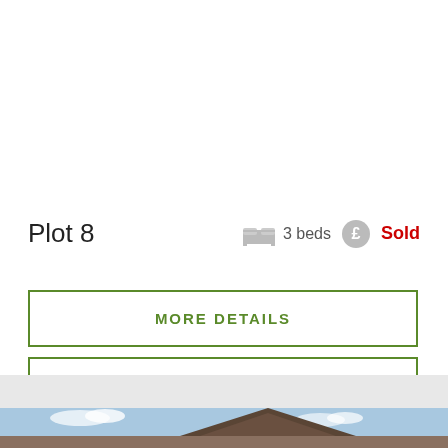Plot 8
3 beds
Sold
MORE DETAILS
SPEC SHEET
[Figure (photo): Exterior photo of a residential property showing roof and sky]